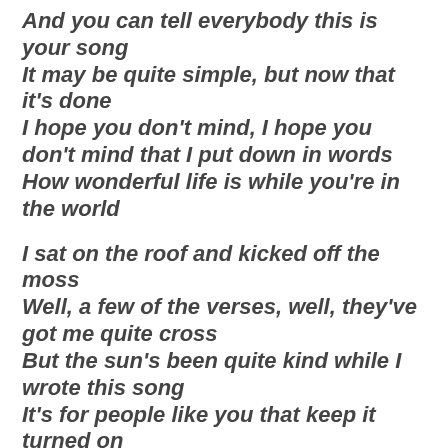And you can tell everybody this is your song
It may be quite simple, but now that it's done
I hope you don't mind, I hope you don't mind that I put down in words
How wonderful life is while you're in the world
I sat on the roof and kicked off the moss
Well, a few of the verses, well, they've got me quite cross
But the sun's been quite kind while I wrote this song
It's for people like you that keep it turned on
So excuse me forgetting, but these things I do